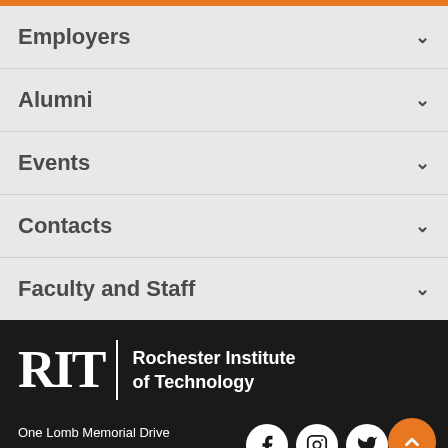Employers
Alumni
Events
Contacts
Faculty and Staff
[Figure (logo): RIT - Rochester Institute of Technology white logo on black background]
One Lomb Memorial Drive
Rochester, NY 14623